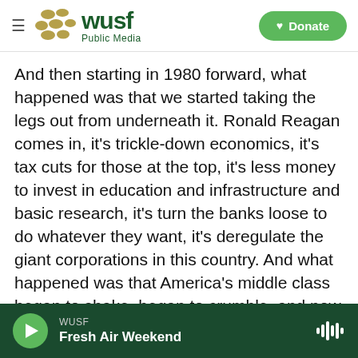[Figure (logo): WUSF Public Media logo with hamburger menu and Donate button]
And then starting in 1980 forward, what happened was that we started taking the legs out from underneath it. Ronald Reagan comes in, it's trickle-down economics, it's tax cuts for those at the top, it's less money to invest in education and infrastructure and basic research, it's turn the banks loose to do whatever they want, it's deregulate the giant corporations in this country. And what happened was that America's middle class began to shake, began to crumble, and now we're in a place where Donald Trump could deliver the knockout blow.
[Figure (screenshot): Audio player footer showing WUSF Fresh Air Weekend with play button and waveform icon]